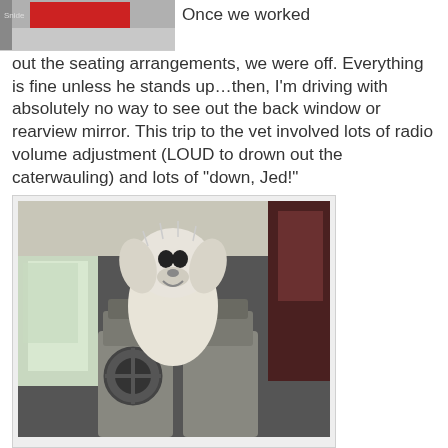[Figure (photo): Partial photo at the top left showing red fabric/clothing item, cropped]
Once we worked out the seating arrangements, we were off. Everything is fine unless he stands up…then, I'm driving with absolutely no way to see out the back window or rearview mirror. This trip to the vet involved lots of radio volume adjustment (LOUD to drown out the caterwauling) and lots of "down, Jed!"
[Figure (photo): A large white dog standing up between the front seats of a vehicle, looking toward the camera from the back seat area. Car interior with gray seats visible.]
The receptionist looked rather strained when I asked if they could add all the cats into the visit, but she was pleasant about fitting the whole crew into the schedule. I must say, it